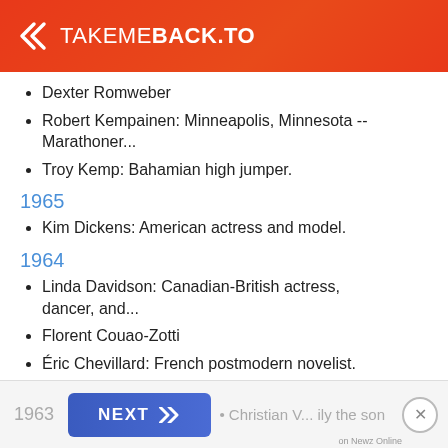TAKEMEBACK.TO
Dexter Romweber
Robert Kempainen: Minneapolis, Minnesota -- Marathoner...
Troy Kemp: Bahamian high jumper.
1965
Kim Dickens: American actress and model.
1964
Linda Davidson: Canadian-British actress, dancer, and...
Florent Couao-Zotti
Éric Chevillard: French postmodern novelist.
Uday Hussein: Iraqi politician, son of Saddam Hussein...
Thanh Nguyen: Saigon, Vietnam -- 141 lbs US...
1963
Christian V... ily the son